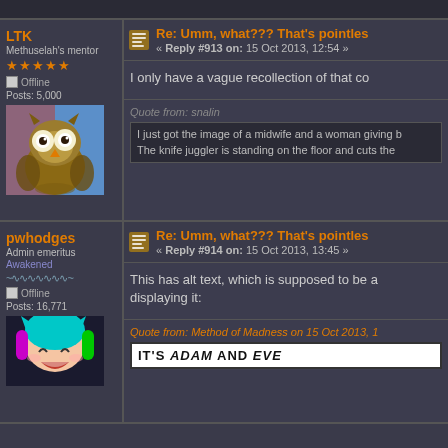LTK
Methuselah's mentor
Offline
Posts: 5,000
Re: Umm, what??? That's pointles
« Reply #913 on: 15 Oct 2013, 12:54 »
I only have a vague recollection of that co
Quote from: snalin
I just got the image of a midwife and a woman giving b
The knife juggler is standing on the floor and cuts the
pwhodges
Admin emeritus
Awakened
Offline
Posts: 16,771
Re: Umm, what??? That's pointles
« Reply #914 on: 15 Oct 2013, 13:45 »
This has alt text, which is supposed to be a displaying it:
Quote from: Method of Madness on 15 Oct 2013, 1
IT'S ADAM AND EVE